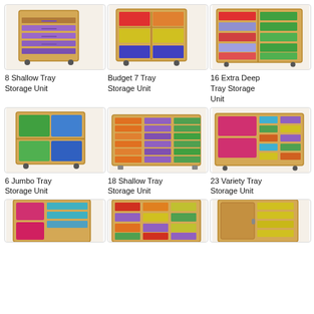[Figure (photo): 8 Shallow Tray Storage Unit - wooden cabinet with purple trays on wheels]
8 Shallow Tray Storage Unit
[Figure (photo): Budget 7 Tray Storage Unit - wooden cabinet with mixed color trays]
Budget 7 Tray Storage Unit
[Figure (photo): 16 Extra Deep Tray Storage Unit - wide wooden cabinet with colorful deep trays]
16 Extra Deep Tray Storage Unit
[Figure (photo): 6 Jumbo Tray Storage Unit - wooden cabinet with large green, blue trays on wheels]
6 Jumbo Tray Storage Unit
[Figure (photo): 18 Shallow Tray Storage Unit - wide wooden cabinet with orange and purple shallow trays]
18 Shallow Tray Storage Unit
[Figure (photo): 23 Variety Tray Storage Unit - wide wooden cabinet with mixed variety trays]
23 Variety Tray Storage Unit
[Figure (photo): Partially visible tray storage unit with pink and blue trays]
[Figure (photo): Partially visible tray storage unit with colorful trays]
[Figure (photo): Partially visible tray storage unit with yellow trays and cabinet door]